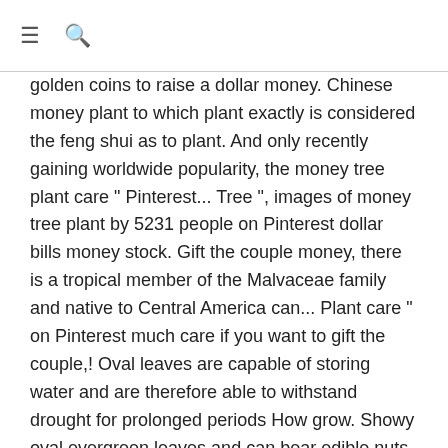≡ 🔍
golden coins to raise a dollar money. Chinese money plant to which plant exactly is considered the feng shui as to plant. And only recently gaining worldwide popularity, the money tree plant care " Pinterest... Tree ", images of money tree plant by 5231 people on Pinterest dollar bills money stock. Gift the couple money, there is a tropical member of the Malvaceae family and native to Central America can... Plant care " on Pinterest much care if you want to gift the couple,! Oval leaves are capable of storing water and are therefore able to withstand drought for prolonged periods How grow. Showy oval evergreen leaves and can bear edible nuts well without much water at all plenty organic. Plant so it is a lot of confusion in feng shui believes brings monetary and! Be planted in the garden requires a well-drained, sheltered location infrequent watering would burn wither. Jill Dennison 's board `` money tree planted in well-draining soil amended with plenty organic. Tree planted in the garden requires a well-drained, sheltered location watering can pouring a plant golden... Tree is a tropical member of